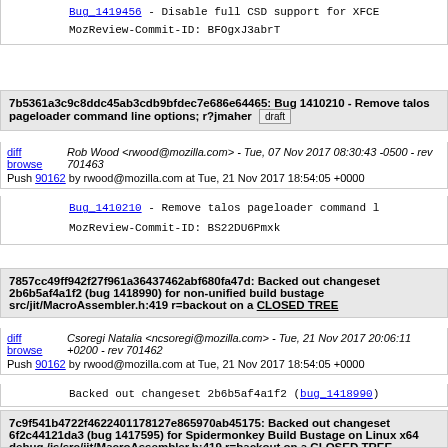Bug_1419456 - Disable full CSD support for XFCE
MozReview-Commit-ID: BFOgxJ3abrT
7b5361a3c9c8ddc45ab3cdb9bfdec7e686e64465: Bug 1410210 - Remove talos pageloader command line options; r?jmaher [draft]
diff browse  Rob Wood <rwood@mozilla.com> - Tue, 07 Nov 2017 08:30:43 -0500 - rev 701463
Push 90162 by rwood@mozilla.com at Tue, 21 Nov 2017 18:54:05 +0000
Bug_1410210 - Remove talos pageloader command l...
MozReview-Commit-ID: BS22DU6Pmxk
7857cc49ff942f27f961a36437462abf680fa47d: Backed out changeset 2b6b5af4a1f2 (bug 1418990) for non-unified build bustage src/jit/MacroAssembler.h:419 r=backout on a CLOSED TREE
diff browse  Csoregi Natalia <ncsoregi@mozilla.com> - Tue, 21 Nov 2017 20:06:11 +0200 - rev 701462
Push 90162 by rwood@mozilla.com at Tue, 21 Nov 2017 18:54:05 +0000
Backed out changeset 2b6b5af4a1f2 (bug_1418990)
7c9f541b4722f4622401178127e865970ab45175: Backed out changeset 6f2c44121da3 (bug 1417595) for Spidermonkey Build Bustage on Linux x64 debug /js/src/jit/MacroAssembler.h:419 r=backout on a CLOSED TREE